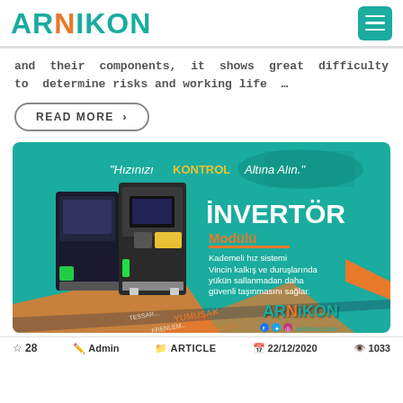ARNIKON
and their components, it shows great difficulty to determine risks and working life …
READ MORE ›
[Figure (illustration): Arnikon İnvertör Modülü advertisement banner. Teal background with two inverter devices on the left. Text: 'Hızınızı KONTROL Altına Alın.' on top. Large text 'İNVERTÖR' and 'Modülü' with orange underline. Caption: 'Kademeli hız sistemi Vincin kalkış ve duruşlarında yükün sallanmadan daha güvenli taşınmasını sağlar.' ARNIKON logo at bottom right with social media handles @arnikoncrane. Orange arrow graphic at bottom.]
☆ 28   Admin   ARTICLE   22/12/2020   1033